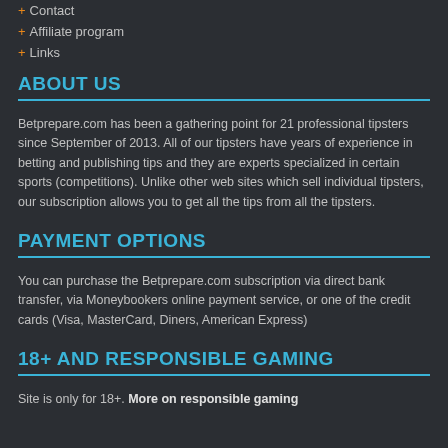+ Contact
+ Affiliate program
+ Links
ABOUT US
Betprepare.com has been a gathering point for 21 professional tipsters since September of 2013. All of our tipsters have years of experience in betting and publishing tips and they are experts specialized in certain sports (competitions). Unlike other web sites which sell individual tipsters, our subscription allows you to get all the tips from all the tipsters.
PAYMENT OPTIONS
You can purchase the Betprepare.com subscription via direct bank transfer, via Moneybookers online payment service, or one of the credit cards (Visa, MasterCard, Diners, American Express)
18+ AND RESPONSIBLE GAMING
Site is only for 18+. More on responsible gaming